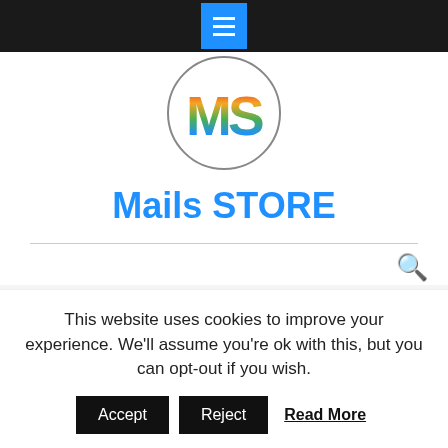Navigation menu bar with hamburger icon
[Figure (logo): Mails STORE logo — circle with rainbow-colored letters MS]
Mails STORE
Administrator Mailing Database Will Help You Market the Right Way
We understand that marketing can be a massive
This website uses cookies to improve your experience. We'll assume you're ok with this, but you can opt-out if you wish.
Accept  Reject  Read More